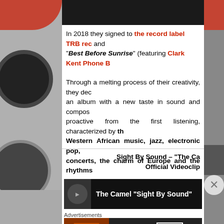[Figure (photo): Dark top image bar, partial view of a photo or video frame with dark background]
In 2018 they signed to the record label TRB rec and "Best Before Sunrise" (featuring Clark Kent Phone B…
Through a melting process of their creativity, they dec… an album with a new taste in sound and compos… proactive from the first listening, characterized by th… Western African music, jazz, electronic pop, … concerts, the charm of Europe and the rhythms…
Sight By Sound – "The Ca… Official Videoclip
[Figure (screenshot): YouTube video thumbnail: The Camel "Sight By Sound" on black background with thumbnail image]
Advertisements
[Figure (photo): Seamless food delivery advertisement banner with pizza image, seamless logo pill, and ORDER NOW box]